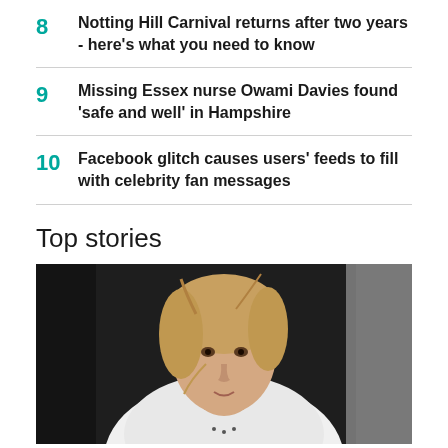8 Notting Hill Carnival returns after two years - here's what you need to know
9 Missing Essex nurse Owami Davies found 'safe and well' in Hampshire
10 Facebook glitch causes users' feeds to fill with celebrity fan messages
Top stories
[Figure (photo): Young girl with light brown hair, wearing a white top, looking at camera with a slight smile. Dark background.]